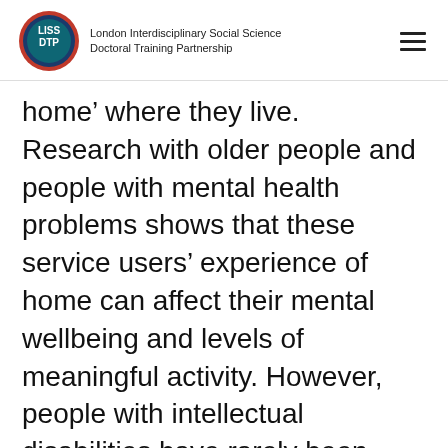London Interdisciplinary Social Science Doctoral Training Partnership
home’ where they live. Research with older people and people with mental health problems shows that these service users’ experience of home can affect their mental wellbeing and levels of meaningful activity. However, people with intellectual disabilities have rarely been asked about what makes them feel
We use cookies on our website to give you the most relevant experience by remembering your preferences and repeat visits. By clicking “Accept All”, you consent to the use of ALL the cookies. However, you may visit “Cookie Settings” to provide a controlled consent.